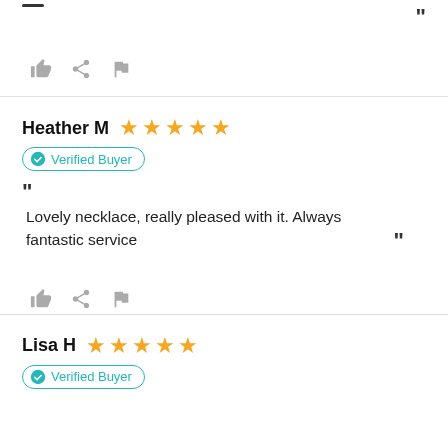[Figure (other): Dash icon at top left of first review section]
”
[Figure (other): Action icons: thumbs up, share, flag]
Heather M ★★★★★
Verified Buyer
Lovely necklace, really pleased with it. Always fantastic service
”
[Figure (other): Action icons: thumbs up, share, flag]
Lisa H ★★★★★
Verified Buyer